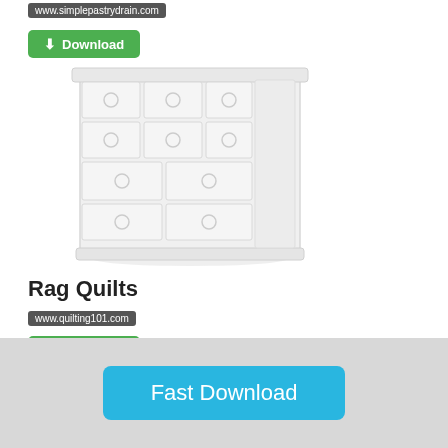www.simplepastrydrain.com
[Figure (other): Green Download button with download icon]
[Figure (illustration): A white wooden dresser/chest of drawers with round ring handles on multiple drawers, rendered in light grey/white tones]
Rag Quilts
www.quilting101.com
[Figure (other): Green Download button with download icon]
[Figure (photo): Partial image strip at bottom of main content area showing a photo]
[Figure (other): Fast Download button (blue/cyan) on grey background bar at bottom of page]